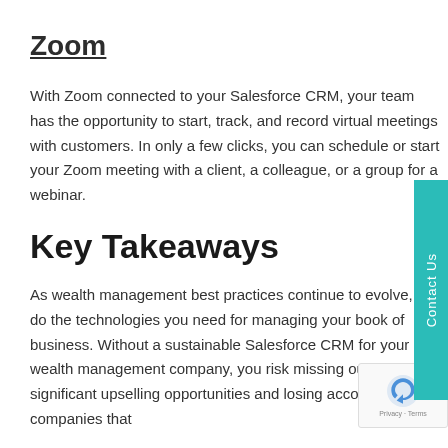Zoom
With Zoom connected to your Salesforce CRM, your team has the opportunity to start, track, and record virtual meetings with customers. In only a few clicks, you can schedule or start your Zoom meeting with a client, a colleague, or a group for a webinar.
Key Takeaways
As wealth management best practices continue to evolve, so do the technologies you need for managing your book of business. Without a sustainable Salesforce CRM for your wealth management company, you risk missing out on significant upselling opportunities and losing accounts to companies that